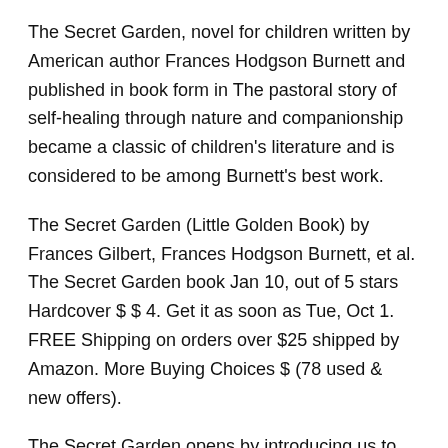The Secret Garden, novel for children written by American author Frances Hodgson Burnett and published in book form in The pastoral story of self-healing through nature and companionship became a classic of children's literature and is considered to be among Burnett's best work.
The Secret Garden (Little Golden Book) by Frances Gilbert, Frances Hodgson Burnett, et al. The Secret Garden book Jan 10, out of 5 stars Hardcover $ $ 4. Get it as soon as Tue, Oct 1. FREE Shipping on orders over $25 shipped by Amazon. More Buying Choices $ (78 used & new offers).
The Secret Garden opens by introducing us to Mary Lennox, a sickly, foul-tempered, unsightly little girl who loves no one and whom no one loves. At the outset of the story, she is living in India with her parents—a dashing army captain and his frivolous, beautiful wife—but is rarely permitted to see them.
Jul 26,  · The Secret Garden - Kindle edition by Frances Hodgson Burnett. Download it once and read it on your Kindle device, PC,